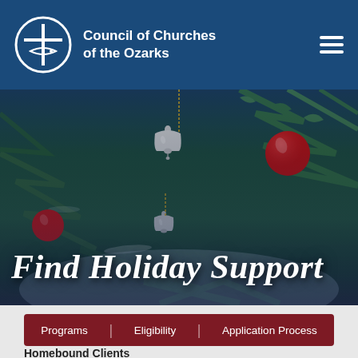Council of Churches of the Ozarks
[Figure (photo): Christmas tree with red and silver ornaments, bells, with a dark blue overlay. Large italic white text reads 'Find Holiday Support'.]
Find Holiday Support
Programs
Eligibility
Application Process
Homebound Clients